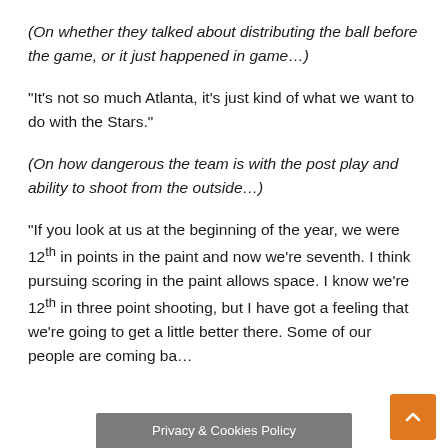(On whether they talked about distributing the ball before the game, or it just happened in game…)
“It’s not so much Atlanta, it’s just kind of what we want to do with the Stars.”
(On how dangerous the team is with the post play and ability to shoot from the outside…)
“If you look at us at the beginning of the year, we were 12th in points in the paint and now we’re seventh. I think pursuing scoring in the paint allows space. I know we’re 12th in three point shooting, but I have got a feeling that we’re going to get a little better there. Some of our people are coming ba…
Privacy & Cookies Policy